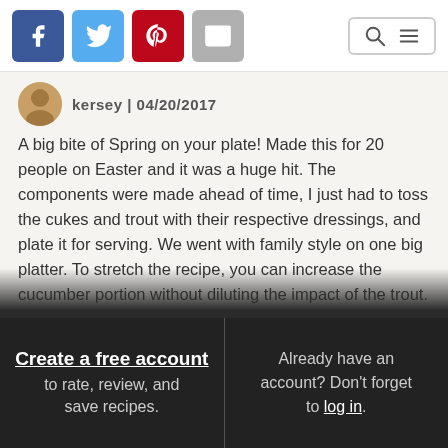[Figure (screenshot): Social share icons: Facebook (blue), Twitter (light blue), Pinterest (red), Email (gray), and search/menu icons on the right]
kersey | 04/20/2017
A big bite of Spring on your plate! Made this for 20 people on Easter and it was a huge hit. The components were made ahead of time, I just had to toss the cukes and trout with their respective dressings, and plate it for serving. We went with family style on one big platter. To stretch the recipe, you can increase the cucumber portion without diluting the impact of the trout. If you can't find smoked trout, make sure you use a mild smoked fish. For example, I think smoked salmon would be way to strong a flavor for the rest of the salad. A friend made this with smoked whitefish and says it was great. This will be on our spring/summer table
Create a free account to rate, review, and save recipes. Already have an account? Don't forget to log in.